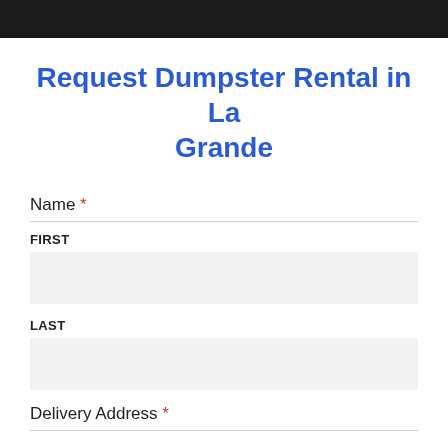[Figure (photo): Dark header banner image at top of page]
Request Dumpster Rental in La Grande
Name *
FIRST
LAST
Delivery Address *